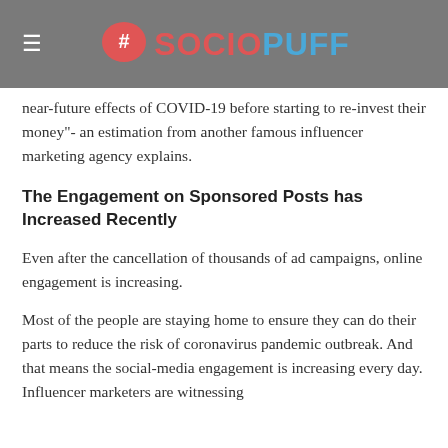#SOCIOPUFF
near-future effects of COVID-19 before starting to re-invest their money"- an estimation from another famous influencer marketing agency explains.
The Engagement on Sponsored Posts has Increased Recently
Even after the cancellation of thousands of ad campaigns, online engagement is increasing.
Most of the people are staying home to ensure they can do their parts to reduce the risk of coronavirus pandemic outbreak. And that means the social-media engagement is increasing every day. Influencer marketers are witnessing